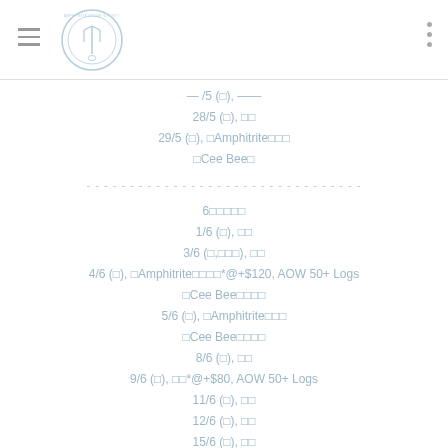Header with logo and navigation
28/5 (□), □□
29/5 (□), □Amphitrite□□□
□Cee Bee□
6□□□□□
1/6 (□), □□
3/6 (□,□□□), □□
4/6 (□), □Amphitrite□□□□*@+$120, AOW 50+ Logs
□Cee Bee□□□□
5/6 (□), □Amphitrite□□□
□Cee Bee□□□□
8/6 (□), □□
9/6 (□), □□*@+$80, AOW 50+ Logs
11/6 (□), □□
12/6 (□), □□
15/6 (□), □□